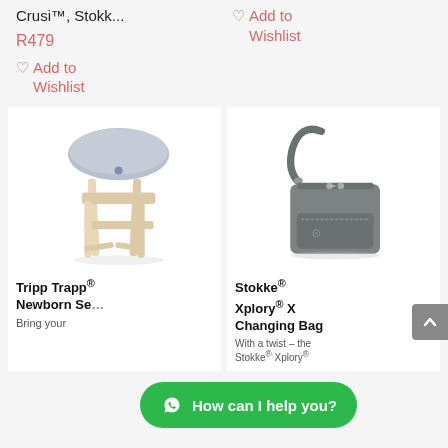Crusi™, Stokk...
Add to Wishlist
R479
Add to Wishlist
[Figure (photo): Tripp Trapp high chair with grey newborn set cushion insert]
Tripp Trapp® Newborn Se
Bring your
[Figure (photo): Stokke Xplory X grey changing bag with shoulder strap]
Stokke® Xplory® X Changing Bag
With a twist - the Stokke® Xplory®
How can I help you?